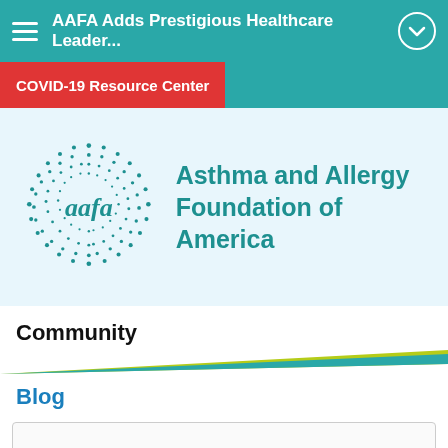AAFA Adds Prestigious Healthcare Leader...
COVID-19 Resource Center
[Figure (logo): Asthma and Allergy Foundation of America logo with dotted circular emblem and 'aafa' text]
Community
Blog